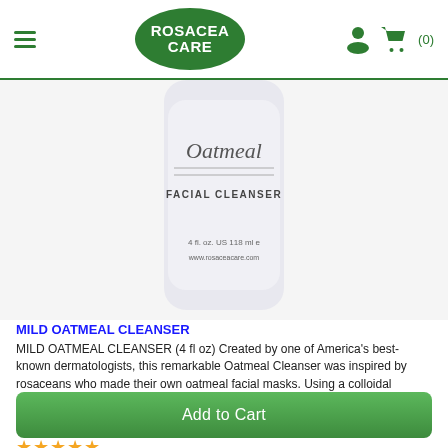Rosacea Care — navigation header with hamburger menu, logo, user icon, and cart (0)
[Figure (photo): White cylindrical bottle of Oatmeal Facial Cleanser labeled 4 fl oz US 118ml with www.rosaceacare.com URL, on light grey background]
MILD OATMEAL CLEANSER
MILD OATMEAL CLEANSER (4 fl oz) Created by one of America's best-known dermatologists, this remarkable Oatmeal Cleanser was inspired by rosaceans who made their own oatmeal facial masks. Using a colloidal oatmeal (whole oats gr..
$26.50 $21.50
★★★★★
Add to Cart